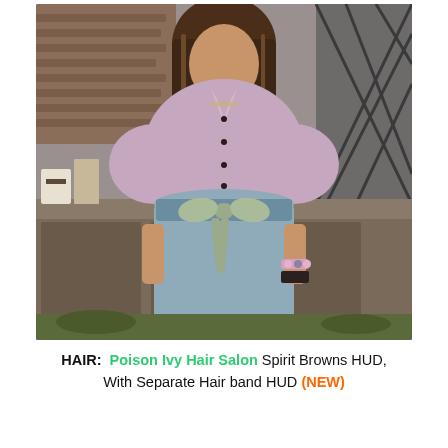[Figure (illustration): A 3D rendered avatar of a woman with long brown hair wearing a light purple/mauve button-up blouse with puff sleeves and a blue-grey skirt with a sage green satin bow belt. She is standing in front of a wooden furniture piece and iron gate background with cafe items visible on the left.]
HAIR: Poison Ivy Hair Salon Spirit Browns HUD, With Separate Hair band HUD (NEW)